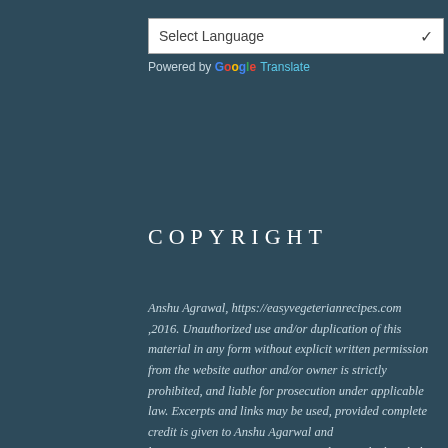[Figure (other): Select Language dropdown widget with Google Translate branding]
COPYRIGHT
Anshu Agrawal, https://easyvegeterianrecipes.com ,2016. Unauthorized use and/or duplication of this material in any form without explicit written permission from the website author and/or owner is strictly prohibited, and liable for prosecution under applicable law. Excerpts and links may be used, provided complete credit is given to Anshu Agarwal and https://easyvegeterianrecipes.com along with clear links directing user to the referred pages from this website